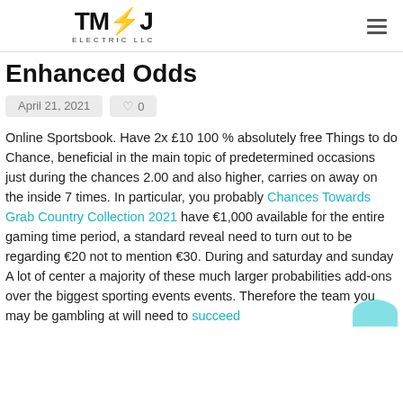TMJ ELECTRIC LLC
Enhanced Odds
April 21, 2021   ♡ 0
Online Sportsbook. Have 2x £10 100 % absolutely free Things to do Chance, beneficial in the main topic of predetermined occasions just during the chances 2.00 and also higher, carries on away on the inside 7 times. In particular, you probably Chances Towards Grab Country Collection 2021 have €1,000 available for the entire gaming time period, a standard reveal need to turn out to be regarding €20 not to mention €30. During and saturday and sunday A lot of center a majority of these much larger probabilities add-ons over the biggest sporting events events. Therefore the team you may be gambling at will need to succeed